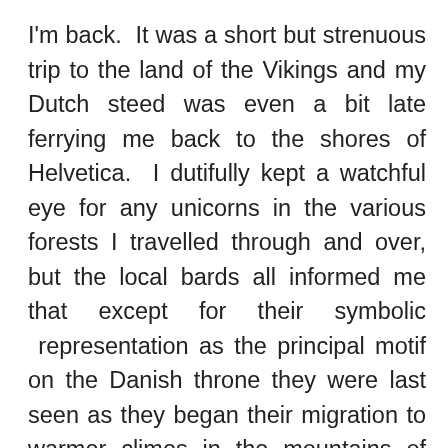I'm back.  It was a short but strenuous trip to the land of the Vikings and my Dutch steed was even a bit late ferrying me back to the shores of Helvetica.  I dutifully kept a watchful eye for any unicorns in the various forests I travelled through and over, but the local bards all informed me that except for their symbolic  representation as the principal motif on the Danish throne they were last seen as they began their migration to warmer climes in the mountains of Transylvania in eastern Romania and Moldavia.  The forlorn mermaid in question was left dangling on the horn of indecision unable to make that fateful and often fatal choice, and even the counsel of Thor and Freyja could not budge her one way or the other.  My suggestion to her was that she resume her lilting pose on her partially submerged stone at the entrance to